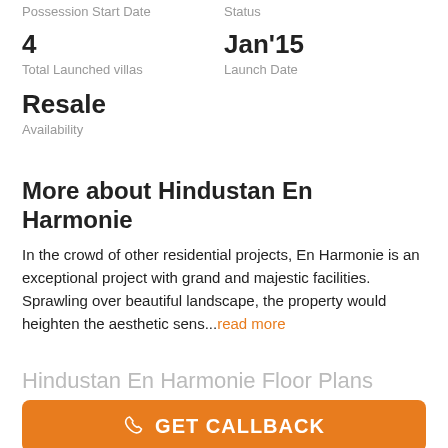Possession Start Date
Status
4
Total Launched villas
Jan'15
Launch Date
Resale
Availability
More about Hindustan En Harmonie
In the crowd of other residential projects, En Harmonie is an exceptional project with grand and majestic facilities. Sprawling over beautiful landscape, the property would heighten the aesthetic sens...read more
Hindustan En Harmonie Floor Plans
GET CALLBACK